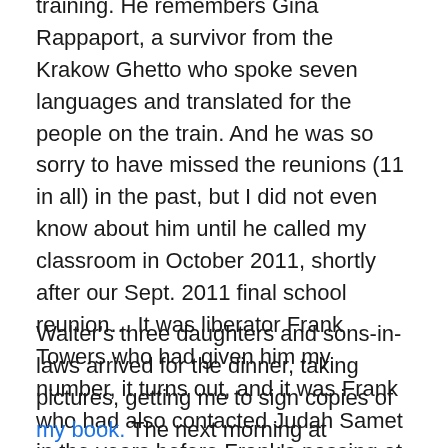training. He remembers Gina Rappaport, a survivor from the Krakow Ghetto who spoke seven languages and translated for the people on the train. And he was so sorry to have missed the reunions (11 in all) in the past, but I did not even know about him until he called my classroom in October 2011, shortly after our Sept. 2011 final school reunion… It was liberator Frank Towers who had given him my number, it turns out, and it was Frank who had also contacted Judah Samet in the years before Frank's passing at 99 in 2016; I suppose then that Frank had a hand in organizing this mini-reunion.
Walter's three daughters and sons-in-laws arrived for the dinner, taking pictures, getting me to sign copies of my book. The next morning at breakfast, Mike explained how he hoped the day's filming would go, but we were both of